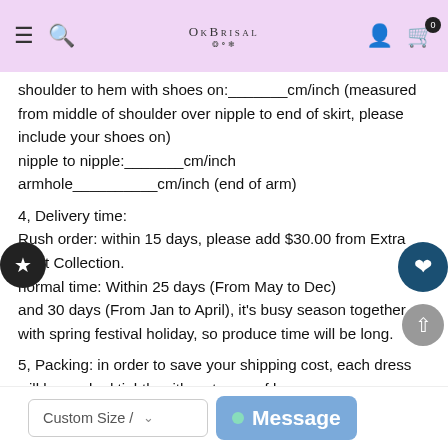OkBrisal
shoulder to hem with shoes on:_______cm/inch (measured from middle of shoulder over nipple to end of skirt, please include your shoes on)
nipple to nipple:_______cm/inch
armhole__________cm/inch (end of arm)
4, Delivery time:
Rush order: within 15 days, please add $30.00 from Extra Cost Collection.
normal time: Within 25 days (From May to Dec)
and 30 days (From Jan to April), it's busy season together with spring festival holiday, so produce time will be long.
5, Packing: in order to save your shipping cost, each dress will be packed tightly with water proof bag .
6, Shipping: by UPS or DHL or some special airline.